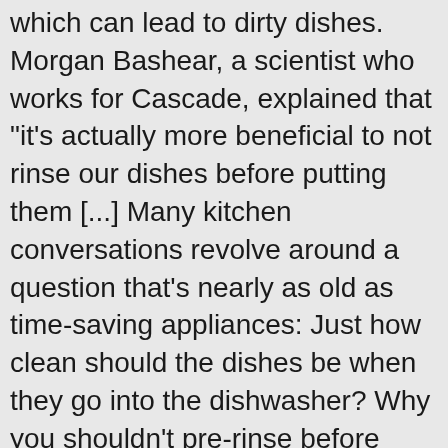which can lead to dirty dishes. Morgan Bashear, a scientist who works for Cascade, explained that "it's actually more beneficial to not rinse our dishes before putting them [...] Many kitchen conversations revolve around a question that's nearly as old as time-saving appliances: Just how clean should the dishes be when they go into the dishwasher? Why you shouldn't pre-rinse before putting items in dishwasher It's a common kitchen argument all over the country – often one partner wants to rinse all of the dishes before placing them in the dishwasher, and the other wants to pop them straight in. 6/17/16 1:30PM. (You should still scrape off leftover food; you just don't need to run dishes under the faucet.) There is no reason to pre-rinse your dirty dishes before you put them in the dishwasher. If you pre-rinse your dishes, the sensors won't pick up any food particles and the machine will run a shorter cycle, leading to a less thorough clean and possibly leaving food that wasn't caught in the rinse. All